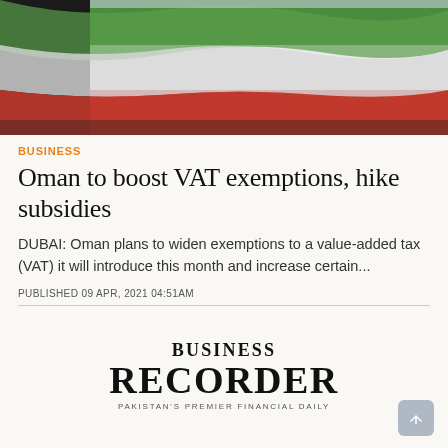[Figure (photo): UAE flag waving against a light blue/grey sky, showing red, white, green and black stripes]
BUSINESS
Oman to boost VAT exemptions, hike subsidies
DUBAI: Oman plans to widen exemptions to a value-added tax (VAT) it will introduce this month and increase certain...
PUBLISHED 09 APR, 2021 04:51AM
[Figure (logo): Business Recorder — Pakistan's Premier Financial Daily logo]